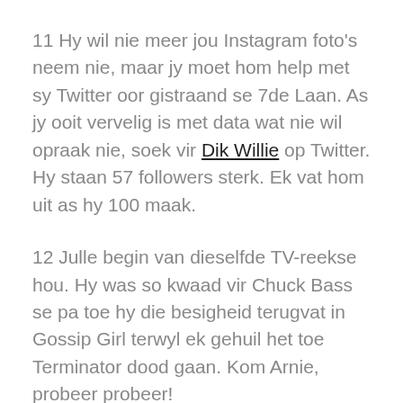11 Hy wil nie meer jou Instagram foto's neem nie, maar jy moet hom help met sy Twitter oor gistraand se 7de Laan. As jy ooit vervelig is met data wat nie wil opraak nie, soek vir Dik Willie op Twitter. Hy staan 57 followers sterk. Ek vat hom uit as hy 100 maak.
12 Julle begin van dieselfde TV-reekse hou. Hy was so kwaad vir Chuck Bass se pa toe hy die besigheid terugvat in Gossip Girl terwyl ek gehuil het toe Terminator dood gaan. Kom Arnie, probeer probeer!